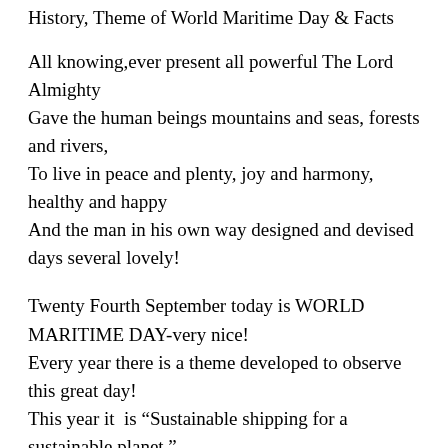History, Theme of World Maritime Day & Facts
All knowing,ever present all powerful The Lord Almighty
Gave the human beings mountains and seas, forests and rivers,
To live in peace and plenty, joy and harmony, healthy and happy
And the man in his own way designed and devised days several lovely!
Twenty Fourth September today is WORLD MARITIME DAY-very nice!
Every year there is a theme developed to observe this great day!
This year it  is “Sustainable shipping for a sustainable planet,”
Providing excellent opportunity to raise awareness